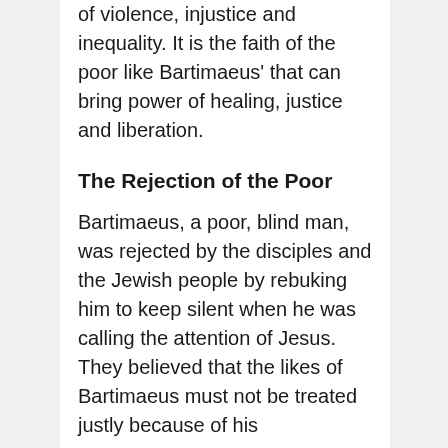of violence, injustice and inequality. It is the faith of the poor like Bartimaeus' that can bring power of healing, justice and liberation.
The Rejection of the Poor
Bartimaeus, a poor, blind man, was rejected by the disciples and the Jewish people by rebuking him to keep silent when he was calling the attention of Jesus. They believed that the likes of Bartimaeus must not be treated justly because of his